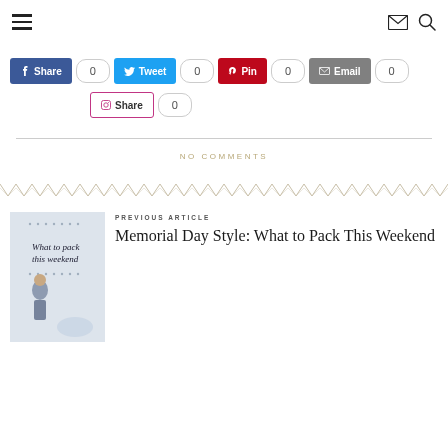Navigation bar with hamburger menu, email icon, and search icon
Share 0 | Tweet 0 | Pin 0 | Email 0 | Share 0
NO COMMENTS
[Figure (illustration): Decorative zigzag/chevron border divider]
[Figure (photo): Thumbnail image for Memorial Day style article showing a woman in a navy outfit]
PREVIOUS ARTICLE
Memorial Day Style: What to Pack This Weekend